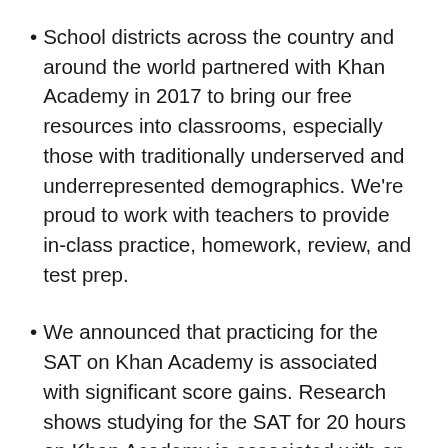School districts across the country and around the world partnered with Khan Academy in 2017 to bring our free resources into classrooms, especially those with traditionally underserved and underrepresented demographics. We're proud to work with teachers to provide in-class practice, homework, review, and test prep.
We announced that practicing for the SAT on Khan Academy is associated with significant score gains. Research shows studying for the SAT for 20 hours on Khan Academy is associated with an average score increase of 115 points, nearly double the average score gain of students who don't use Khan Academy.
More than one million students and 23,000 teachers